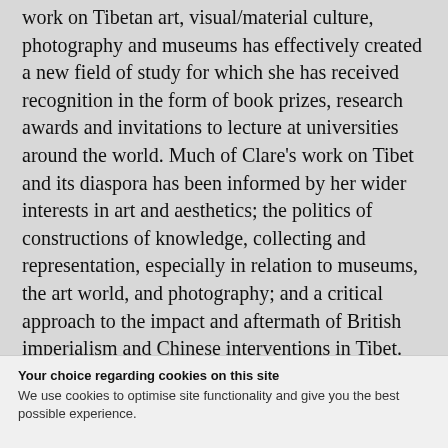work on Tibetan art, visual/material culture, photography and museums has effectively created a new field of study for which she has received recognition in the form of book prizes, research awards and invitations to lecture at universities around the world. Much of Clare's work on Tibet and its diaspora has been informed by her wider interests in art and aesthetics; the politics of constructions of knowledge, collecting and representation, especially in relation to museums, the art world, and photography; and a critical approach to the impact and aftermath of British imperialism and Chinese interventions in Tibet. Her doctoral thesis was published as In the Image of Tibet (1999), and was the first study of modernist and contemporary Tibetan art. It was based on The Museum and the Pacific...
Your choice regarding cookies on this site
We use cookies to optimise site functionality and give you the best possible experience.